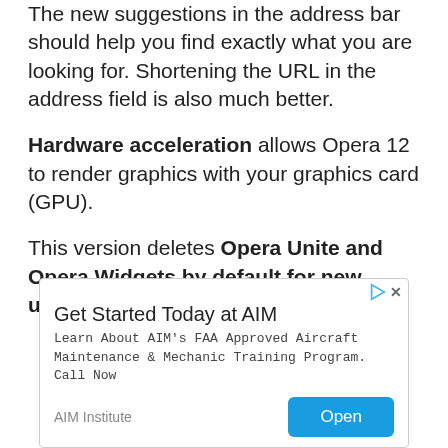The new suggestions in the address bar should help you find exactly what you are looking for. Shortening the URL in the address field is also much better.
Hardware acceleration allows Opera 12 to render graphics with your graphics card (GPU).
This version deletes Opera Unite and Opera Widgets by default for new users.
[Figure (other): Advertisement banner for AIM Institute with title 'Get Started Today at AIM', body text about FAA Approved Aircraft Maintenance & Mechanic Training Program, and an 'Open' button.]